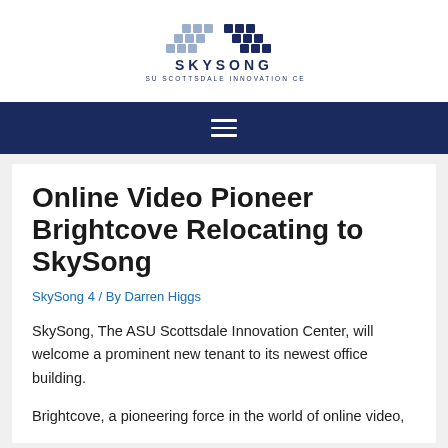[Figure (logo): SkySong logo — two wing/chevron shapes made of small squares in light and dark navy blue, above the text SKYSONG THE ASU SCOTTSDALE INNOVATION CENTER]
SKYSONG
THE ASU SCOTTSDALE INNOVATION CENTER
Online Video Pioneer Brightcove Relocating to SkySong
SkySong 4 / By Darren Higgs
SkySong, The ASU Scottsdale Innovation Center, will welcome a prominent new tenant to its newest office building.
Brightcove, a pioneering force in the world of online video,